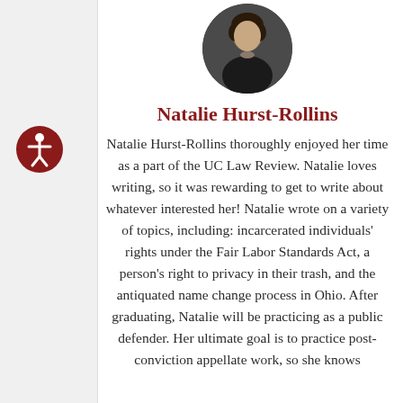[Figure (photo): Circular headshot portrait of Natalie Hurst-Rollins, a woman with dark hair wearing a dark blazer, against a dark background.]
Natalie Hurst-Rollins
Natalie Hurst-Rollins thoroughly enjoyed her time as a part of the UC Law Review. Natalie loves writing, so it was rewarding to get to write about whatever interested her! Natalie wrote on a variety of topics, including: incarcerated individuals' rights under the Fair Labor Standards Act, a person's right to privacy in their trash, and the antiquated name change process in Ohio. After graduating, Natalie will be practicing as a public defender. Her ultimate goal is to practice post-conviction appellate work, so she knows